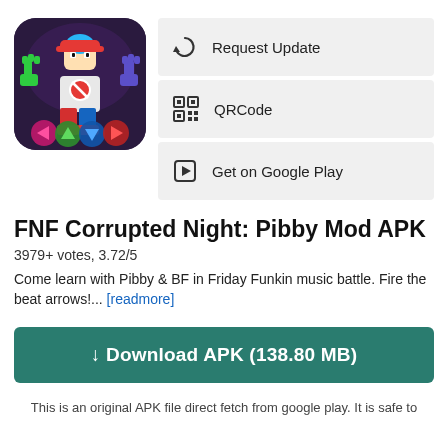[Figure (screenshot): FNF Corrupted Night Pibby Mod app icon showing pixel art game characters with colorful arrows on dark purple background]
Request Update
QRCode
Get on Google Play
FNF Corrupted Night: Pibby Mod APK
3979+ votes, 3.72/5
Come learn with Pibby & BF in Friday Funkin music battle. Fire the beat arrows!... [readmore]
↓ Download APK (138.80 MB)
This is an original APK file direct fetch from google play. It is safe to